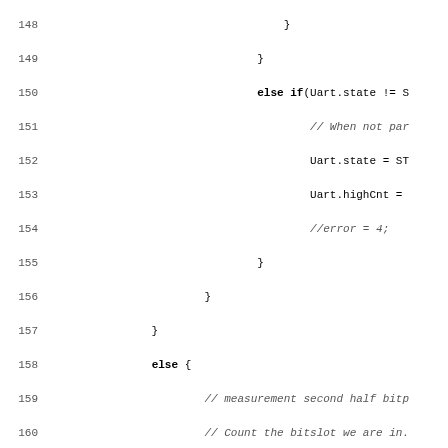Source code listing lines 148-179, showing C code for UART state machine logic including else-if and else blocks with bit measurement, dropPosition checks, and state assignments.